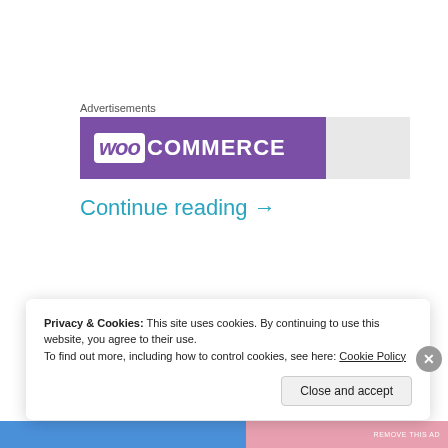Advertisements
[Figure (logo): WooCommerce advertisement banner with purple background and white WooCommerce logo text]
Continue reading →
Privacy & Cookies: This site uses cookies. By continuing to use this website, you agree to their use.
To find out more, including how to control cookies, see here: Cookie Policy
Close and accept